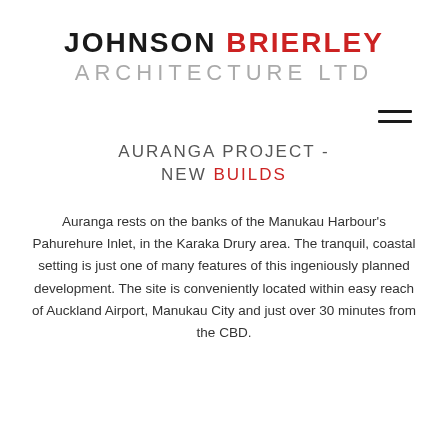JOHNSON BRIERLEY ARCHITECTURE LTD
[Figure (other): Hamburger menu icon — two horizontal lines stacked]
AURANGA PROJECT - NEW BUILDS
Auranga rests on the banks of the Manukau Harbour’s Pahurehure Inlet, in the Karaka Drury area. The tranquil, coastal setting is just one of many features of this ingeniously planned development. The site is conveniently located within easy reach of Auckland Airport, Manukau City and just over 30 minutes from the CBD.